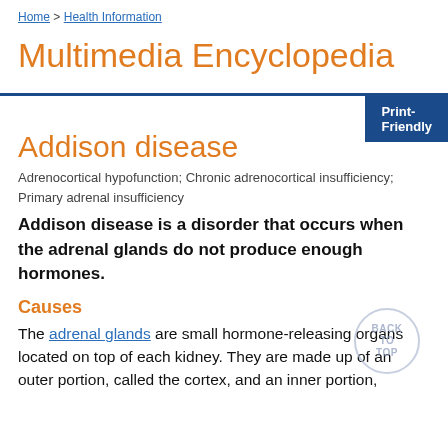Home > Health Information
Multimedia Encyclopedia
Addison disease
Adrenocortical hypofunction; Chronic adrenocortical insufficiency; Primary adrenal insufficiency
Addison disease is a disorder that occurs when the adrenal glands do not produce enough hormones.
Causes
The adrenal glands are small hormone-releasing organs located on top of each kidney. They are made up of an outer portion, called the cortex, and an inner portion,